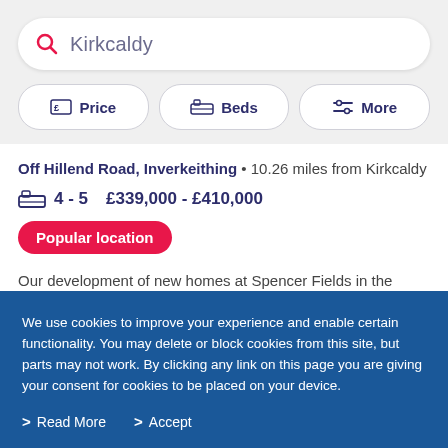Kirkcaldy
Price | Beds | More
Off Hillend Road, Inverkeithing • 10.26 miles from Kirkcaldy
4 - 5   £339,000 - £410,000
Popular location
Our development of new homes at Spencer Fields in the heart of Inverkeithing offers contemporary living with a
We use cookies to improve your experience and enable certain functionality. You may delete or block cookies from this site, but parts may not work. By clicking any link on this page you are giving your consent for cookies to be placed on your device.
Read More
Accept